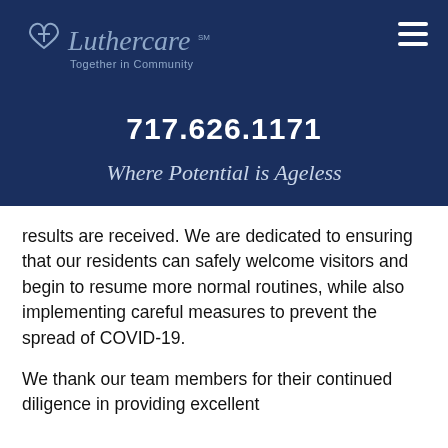[Figure (logo): Luthercare logo with cross and heart icon, tagline 'Together in Community', on dark navy background]
717.626.1171
Where Potential is Ageless
results are received. We are dedicated to ensuring that our residents can safely welcome visitors and begin to resume more normal routines, while also implementing careful measures to prevent the spread of COVID-19.
We thank our team members for their continued diligence in providing excellent